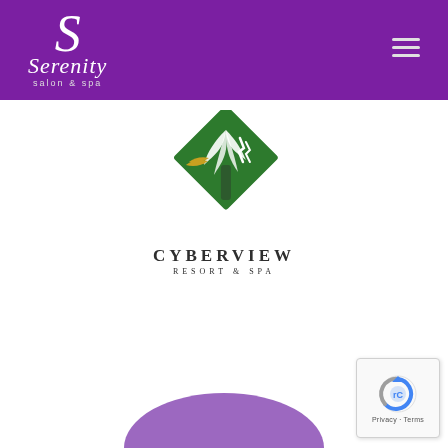[Figure (logo): Serenity Salon & Spa logo on purple header bar with S initial and script text]
[Figure (logo): Cyberview Resort & Spa logo - green diamond shape with palm/plant illustration and gold bird, text CYBERVIEW RESORT & SPA below]
[Figure (illustration): Purple arc/dome shape at bottom center of page]
[Figure (screenshot): reCAPTCHA badge in bottom right corner showing Privacy and Terms text]